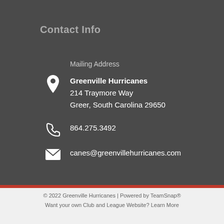Contact Info
Mailing Address
Greenville Hurricanes
214 Traymore Way
Greer, South Carolina 29650
864.275.3492
canes@greenvillehurricanes.com
Email Us
© 2022 Greenville Hurricanes | Powered by TeamSnap®
Want your own Club and League Website? Learn More